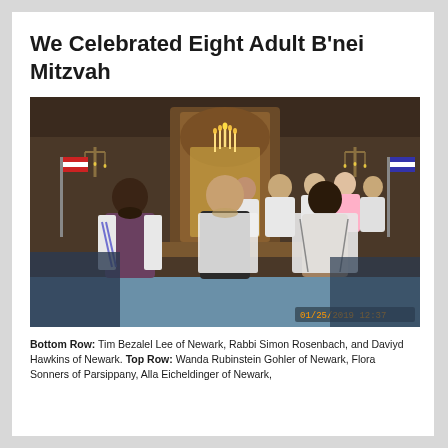We Celebrated Eight Adult B'nei Mitzvah
[Figure (photo): Group photo inside a synagogue. Several people wearing white tallitot (prayer shawls) standing near the bimah/ark. Three people in the bottom row (front): Tim Bezalel Lee, Rabbi Simon Rosenbach, and Daviyd Hawkins. Several more people in the top row behind them. Date stamp visible: 01/25/2019 12:37]
Bottom Row: Tim Bezalel Lee of Newark, Rabbi Simon Rosenbach, and Daviyd Hawkins of Newark.  Top Row: Wanda Rubinstein Gohler of Newark, Flora Sonners of Parsippany, Alla Eicheldinger of Newark,